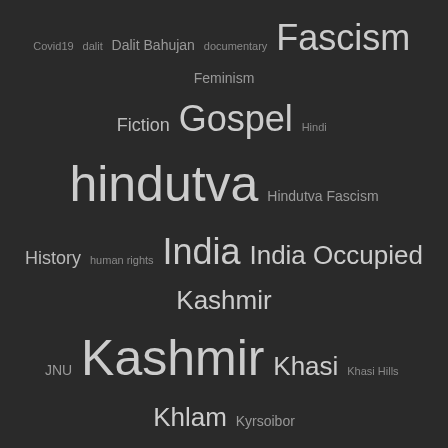[Figure (other): Tag cloud on dark background featuring words related to Indian politics, culture, and geography at varying font sizes including: Covid19, dalit, Dalit Bahujan, documentary, Fascism, Feminism, Fiction, Gospel, Hindi, hindutva, Hindutva Fascism, History, human rights, India, India Occupied Kashmir, JNU, Kashmir, Khasi, Khasi Hills, Khlam, Kyrsoibor Pyrtuh, Law, Manipur, Meghalaya, Music, Nagaland, Narendra Modi, North East India, NRC, Obituary, Pakistan, patriarchy, photography, Poetry, Racism, RSS, Sexual Harassment, Shillong, Translation]
COMMENTS
HOLIRAM TERANG ON HOW TO CHALLENGE THE ANTI-MIGRANT RHETORIC IN ASSAM
RAJIV PEREIRA ON EUNICE DE SOUZA: INTIMIDATING,